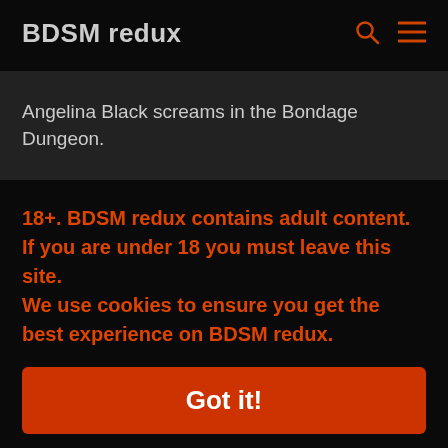BDSM redux
Angelina Black screams in the Bondage Dungeon.
18+. BDSM redux contains adult content. If you are under 18 you must leave this site.
We use cookies to ensure you get the best experience on BDSM redux.
Got it!